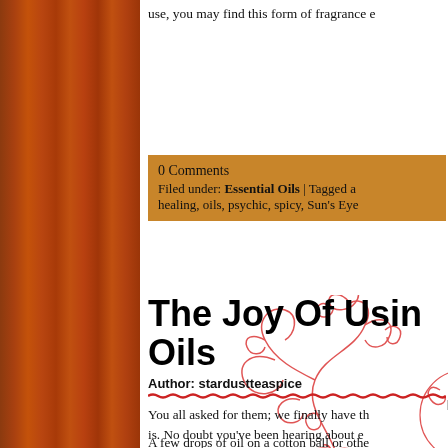use, you may find this form of fragrance e
0 Comments
Filed under: Essential Oils | Tagged a
healing, oils, psychic, spicy, Sun's Eye
[Figure (illustration): Red floral scrollwork decoration with NOV 6 date badge in a circle]
The Joy Of Using Oils
Author: stardustteaspice
[Figure (illustration): Red wavy horizontal separator line]
You all asked for them; we finally have th is. No doubt you've been hearing about e who work as distributors of certain brands be wanting to know what to do with them. oil is the most concentrated part of the pl aromatherapy and other routines used in
A few drops of oil on a cotton ball or othe